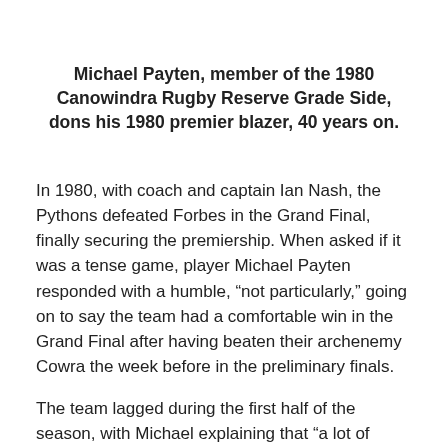Michael Payten, member of the 1980 Canowindra Rugby Reserve Grade Side, dons his 1980 premier blazer, 40 years on.
In 1980, with coach and captain Ian Nash, the Pythons defeated Forbes in the Grand Final, finally securing the premiership. When asked if it was a tense game, player Michael Payten responded with a humble, “not particularly,” going on to say the team had a comfortable win in the Grand Final after having beaten their archenemy Cowra the week before in the preliminary finals.
The team lagged during the first half of the season, with Michael explaining that “a lot of people were injured or